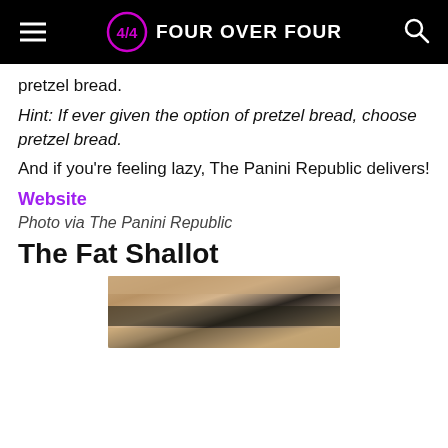FOUR OVER FOUR
pretzel bread.
Hint: If ever given the option of pretzel bread, choose pretzel bread.
And if you're feeling lazy, The Panini Republic delivers!
Website
Photo via The Panini Republic
The Fat Shallot
[Figure (photo): Close-up photo of a sandwich, showing bread and dark filling ingredients]